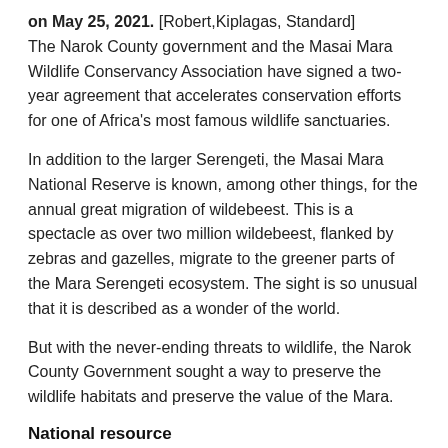on May 25, 2021. [Robert,Kiplagas, Standard] The Narok County government and the Masai Mara Wildlife Conservancy Association have signed a two-year agreement that accelerates conservation efforts for one of Africa's most famous wildlife sanctuaries.
In addition to the larger Serengeti, the Masai Mara National Reserve is known, among other things, for the annual great migration of wildebeest. This is a spectacle as over two million wildebeest, flanked by zebras and gazelles, migrate to the greener parts of the Mara Serengeti ecosystem. The sight is so unusual that it is described as a wonder of the world.
But with the never-ending threats to wildlife, the Narok County Government sought a way to preserve the wildlife habitats and preserve the value of the Mara.
National resource
“The mara as it is commonly known is not just a county resource, it is a significant national resource and an impressive global resource